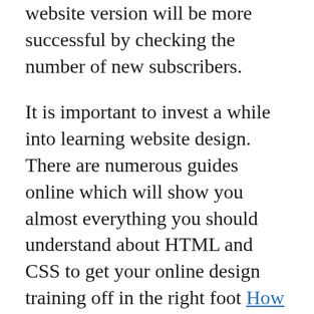website version will be more successful by checking the number of new subscribers.
It is important to invest a while into learning website design. There are numerous guides online which will show you almost everything you should understand about HTML and CSS to get your online design training off in the right foot How To Make passive Income Online Spend a half-hour daily educating yourself on website design and, within just weeks, you'll be able to apply what you've learned to your web page.
Creating a squeeze page is just one tactic for building your contact list. A squeeze page will encourage your potential customers to discuss